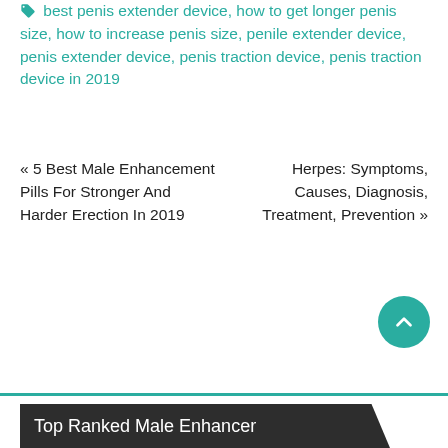best penis extender device, how to get longer penis size, how to increase penis size, penile extender device, penis extender device, penis traction device, penis traction device in 2019
« 5 Best Male Enhancement Pills For Stronger And Harder Erection In 2019
Herpes: Symptoms, Causes, Diagnosis, Treatment, Prevention »
Top Ranked Male Enhancer